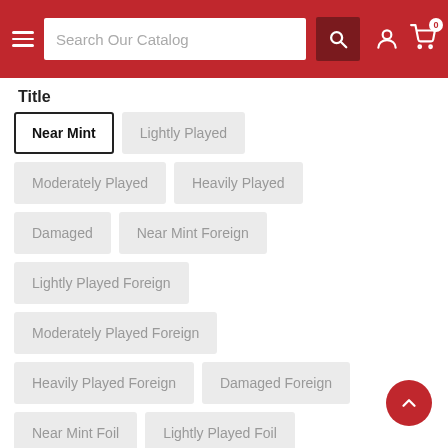[Figure (screenshot): Website header with red background, hamburger menu, search bar labeled 'Search Our Catalog', search icon button, user icon, and cart icon with badge '0']
Title
Near Mint (selected/active)
Lightly Played
Moderately Played
Heavily Played
Damaged
Near Mint Foreign
Lightly Played Foreign
Moderately Played Foreign
Heavily Played Foreign
Damaged Foreign
Near Mint Foil
Lightly Played Foil
Moderately Played Foil
Heavily Played Foil
Damaged Foil
Near Mint Foil Foreign